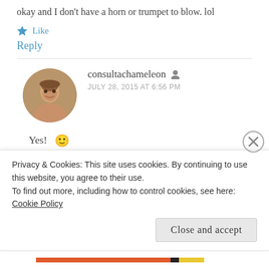okay and I don't have a horn or trumpet to blow. lol
Like
Reply
consultachameleon
JULY 28, 2015 AT 6:56 PM
Yes! 🙂
Privacy & Cookies: This site uses cookies. By continuing to use this website, you agree to their use.
To find out more, including how to control cookies, see here: Cookie Policy
Close and accept